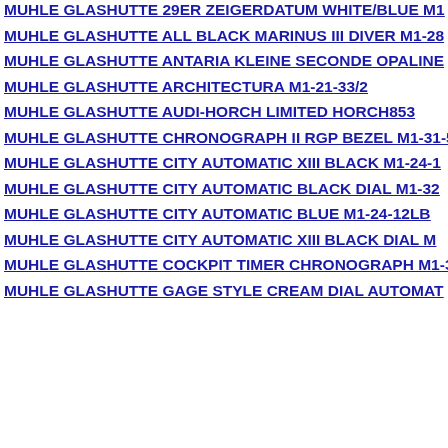MUHLE GLASHUTTE 29ER ZEIGERDATUM WHITE/BLUE M1...
MUHLE GLASHUTTE ALL BLACK MARINUS III DIVER M1-28...
MUHLE GLASHUTTE ANTARIA KLEINE SECONDE OPALINE...
MUHLE GLASHUTTE ARCHITECTURA M1-21-33/2
MUHLE GLASHUTTE AUDI-HORCH LIMITED HORCH853
MUHLE GLASHUTTE CHRONOGRAPH II RGP BEZEL M1-31-5...
MUHLE GLASHUTTE CITY AUTOMATIC XIII BLACK M1-24-1...
MUHLE GLASHUTTE CITY AUTOMATIC BLACK DIAL M1-32...
MUHLE GLASHUTTE CITY AUTOMATIC BLUE M1-24-12LB
MUHLE GLASHUTTE CITY AUTOMATIC XIII BLACK DIAL M...
MUHLE GLASHUTTE COCKPIT TIMER CHRONOGRAPH M1-3...
MUHLE GLASHUTTE GAGE STYLE CREAM DIAL AUTOMAT...